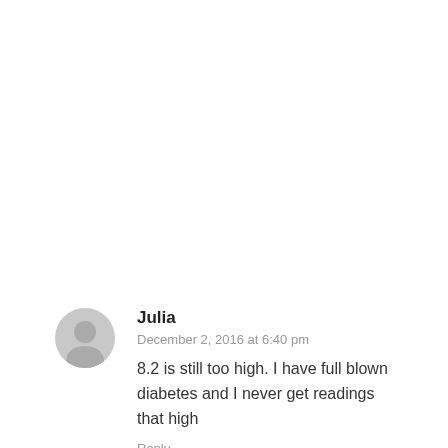Julia
December 2, 2016 at 6:40 pm
8.2 is still too high. I have full blown diabetes and I never get readings that high
Reply
Karen hunston